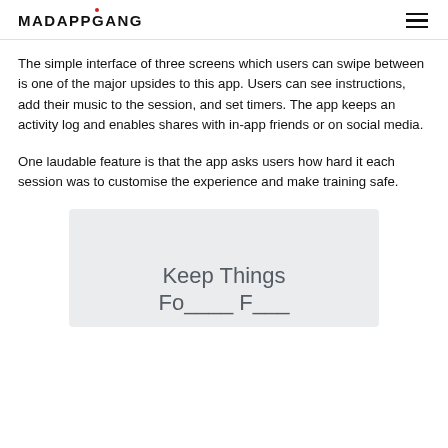MADAPPGANG
The simple interface of three screens which users can swipe between is one of the major upsides to this app. Users can see instructions, add their music to the session, and set timers. The app keeps an activity log and enables shares with in-app friends or on social media.
One laudable feature is that the app asks users how hard it each session was to customise the experience and make training safe.
[Figure (screenshot): Gray box with text 'Keep Things' and partial text below it, appears to be a screenshot of an app interface]